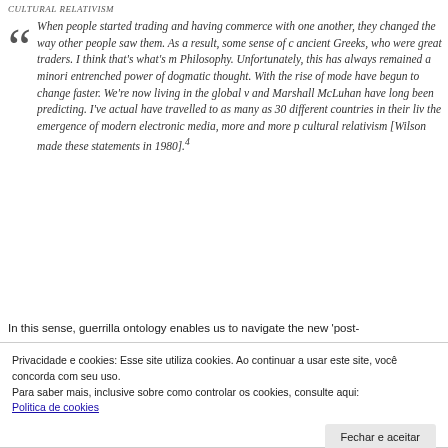CULTURAL RELATIVISM
When people started trading and having commerce with one another, they changed the way other people saw them. As a result, some sense of cultural relativism arose in the ancient Greeks, who were great traders. I think that's what's missing today in Moral Philosophy. Unfortunately, this has always remained a minority view because of the entrenched power of dogmatic thought. With the rise of modern communications, things have begun to change faster. We're now living in the global village that Buckminster Fuller and Marshall McLuhan have long been predicting. I've actually met people lately who have travelled to as many as 30 different countries in their lives. That shows that, with the emergence of modern electronic media, more and more people are moving toward cultural relativism [Wilson made these statements in 1980].⁴
In this sense, guerrilla ontology enables us to navigate the new 'post-
Privacidade e cookies: Esse site utiliza cookies. Ao continuar a usar este site, você concorda com seu uso.
Para saber mais, inclusive sobre como controlar os cookies, consulte aqui:
Politica de cookies
Fechar e aceitar